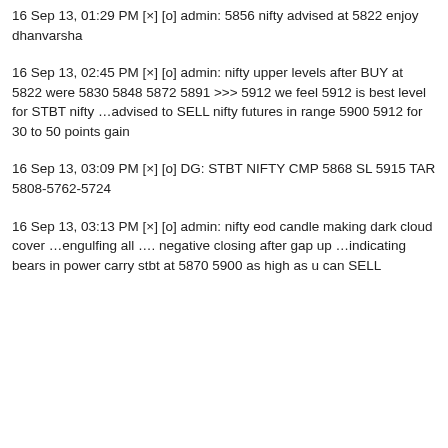16 Sep 13, 01:29 PM [×] [o] admin: 5856 nifty advised at 5822 enjoy dhanvarsha
16 Sep 13, 02:45 PM [×] [o] admin: nifty upper levels after BUY at 5822 were 5830 5848 5872 5891 >>> 5912 we feel 5912 is best level for STBT nifty …advised to SELL nifty futures in range 5900 5912 for 30 to 50 points gain
16 Sep 13, 03:09 PM [×] [o] DG: STBT NIFTY CMP 5868 SL 5915 TAR 5808-5762-5724
16 Sep 13, 03:13 PM [×] [o] admin: nifty eod candle making dark cloud cover …engulfing all …. negative closing after gap up …indicating bears in power carry stbt at 5870 5900 as high as u can SELL